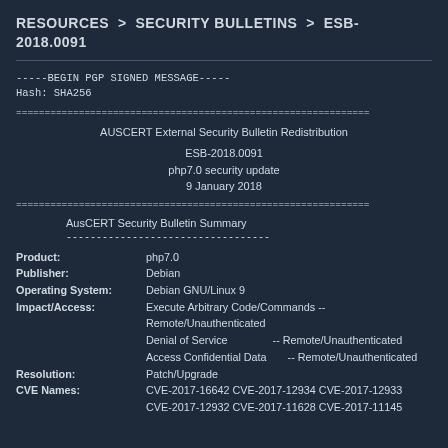RESOURCES  >  SECURITY BULLETINS  >  ESB-2018.0091
-----BEGIN PGP SIGNED MESSAGE-----
Hash: SHA256
==============================================================
         AUSCERT External Security Bulletin Redistribution

                    ESB-2018.0091
               php7.0 security update
                  9 January 2018

==============================================================
AusCERT Security Bulletin Summary
         ----------------------------------
Product:          php7.0
Publisher:        Debian
Operating System: Debian GNU/Linux 9
Impact/Access:    Execute Arbitrary Code/Commands -- Remote/Unauthenticated
                  Denial of Service               -- Remote/Unauthenticated
                  Access Confidential Data        -- Remote/Unauthenticated
Resolution:       Patch/Upgrade
CVE Names:        CVE-2017-16642 CVE-2017-12934 CVE-2017-12933
                  CVE-2017-12932 CVE-2017-11628 CVE-2017-11145